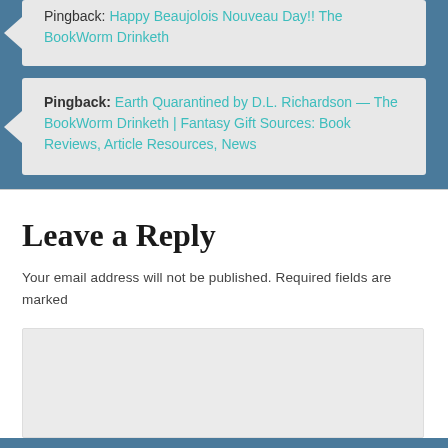Pingback: Happy Beaujolois Nouveau Day!! The BookWorm Drinketh
Pingback: Earth Quarantined by D.L. Richardson — The BookWorm Drinketh | Fantasy Gift Sources: Book Reviews, Article Resources, News
Leave a Reply
Your email address will not be published. Required fields are marked